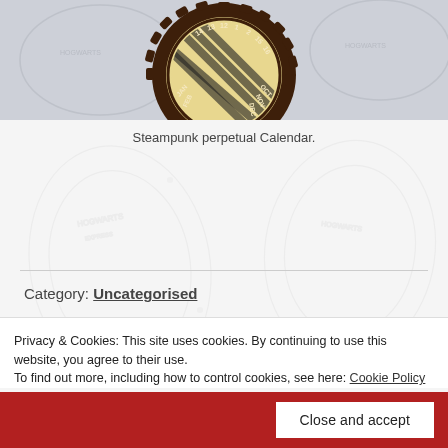[Figure (photo): Top portion of a steampunk perpetual calendar object, showing a circular gear-like dark brown rim with month abbreviations (OCT, NOV, DEC) and numbers arranged around the edge, with a cream/gold center, set against a light grey patterned background with faint Hogwarts-style watermark motifs.]
Steampunk perpetual Calendar.
Category: Uncategorised
Posted on 5th October 2019 by Paul Carter
Privacy & Cookies: This site uses cookies. By continuing to use this website, you agree to their use.
To find out more, including how to control cookies, see here: Cookie Policy
Close and accept